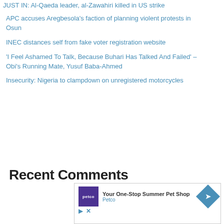JUST IN: Al-Qaeda leader, al-Zawahiri killed in US strike
APC accuses Aregbesola's faction of planning violent protests in Osun
INEC distances self from fake voter registration website
'I Feel Ashamed To Talk, Because Buhari Has Talked And Failed' – Obi's Running Mate, Yusuf Baba-Ahmed
Insecurity: Nigeria to clampdown on unregistered motorcycles
Recent Comments
[Figure (other): Petco advertisement: 'Your One-Stop Summer Pet Shop' with Petco logo and blue diamond arrow icon]